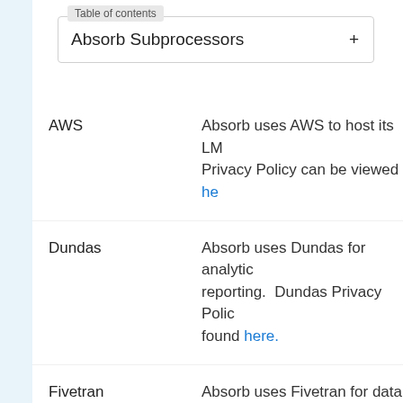Table of contents
Absorb Subprocessors
AWS — Absorb uses AWS to host its LM... Privacy Policy can be viewed here
Dundas — Absorb uses Dundas for analytics reporting. Dundas Privacy Polic... found here.
Fivetran — Absorb uses Fivetran for data pi... and transportation. Fivetran Priv... Policy can be viewed here.
FoxyCart — Absorb uses FoxyCart to handle eCommerce transactions within Absorb shopping cart. FoxyCart...